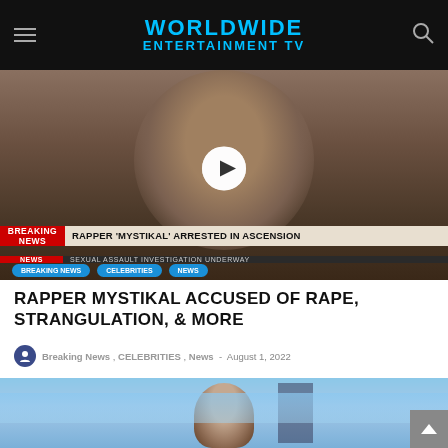WORLDWIDE ENTERTAINMENT TV
[Figure (screenshot): Video thumbnail showing a man's mugshot with breaking news banner: 'RAPPER MYSTIKAL ARRESTED IN ASCENSION - SEXUAL ASSAULT INVESTIGATION UNDERWAY'. Tags: BREAKING NEWS, CELEBRITIES, NEWS.]
RAPPER MYSTIKAL ACCUSED OF RAPE, STRANGULATION, & MORE
Breaking News , CELEBRITIES , News - August 1, 2022
[Figure (photo): Photo of a bald man outdoors with a city building and blue sky in the background.]